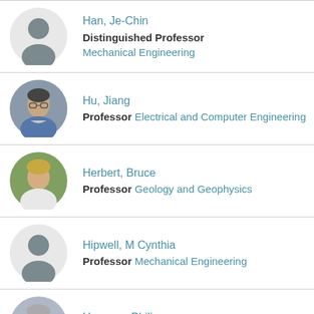Han, Je-Chin
Distinguished Professor Mechanical Engineering
Hu, Jiang
Professor Electrical and Computer Engineering
Herbert, Bruce
Professor Geology and Geophysics
Hipwell, M Cynthia
Professor Mechanical Engineering
Hemmer, Philip
Professor Electrical and